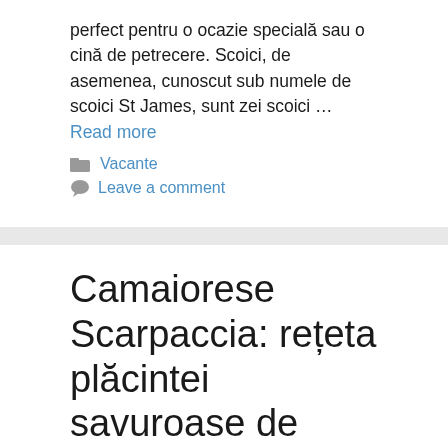perfect pentru o ocazie specială sau o cină de petrecere. Scoici, de asemenea, cunoscut sub numele de scoici St James, sunt zei scoici … Read more
Vacante
Leave a comment
Camaiorese Scarpaccia: rețeta plăcintei savuroase de dovlecei –